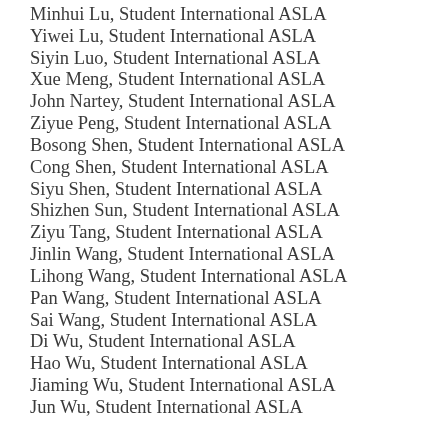Minhui Lu, Student International ASLA
Yiwei Lu, Student International ASLA
Siyin Luo, Student International ASLA
Xue Meng, Student International ASLA
John Nartey, Student International ASLA
Ziyue Peng, Student International ASLA
Bosong Shen, Student International ASLA
Cong Shen, Student International ASLA
Siyu Shen, Student International ASLA
Shizhen Sun, Student International ASLA
Ziyu Tang, Student International ASLA
Jinlin Wang, Student International ASLA
Lihong Wang, Student International ASLA
Pan Wang, Student International ASLA
Sai Wang, Student International ASLA
Di Wu, Student International ASLA
Hao Wu, Student International ASLA
Jiaming Wu, Student International ASLA
Jun Wu, Student International ASLA